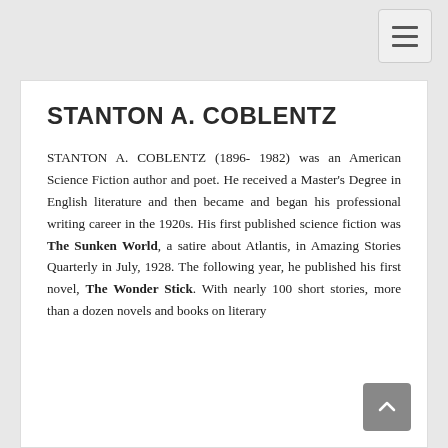[navigation toggle button]
STANTON A. COBLENTZ
STANTON A. COBLENTZ (1896- 1982) was an American Science Fiction author and poet. He received a Master's Degree in English literature and then became and began his professional writing career in the 1920s. His first published science fiction was The Sunken World, a satire about Atlantis, in Amazing Stories Quarterly in July, 1928. The following year, he published his first novel, The Wonder Stick. With nearly 100 short stories, more than a dozen novels and books on literary